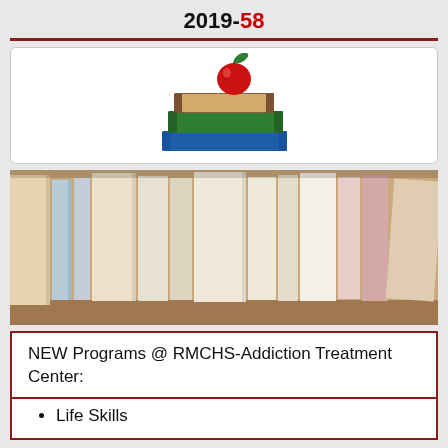2019-58
[Figure (illustration): Cartoon illustration of stacked books (brown, green, blue) with a red apple on top]
[Figure (photo): Photograph of books standing upright on a shelf, spines facing viewer in various neutral colors]
NEW Programs @ RMCHS-Addiction Treatment Center:
Life Skills